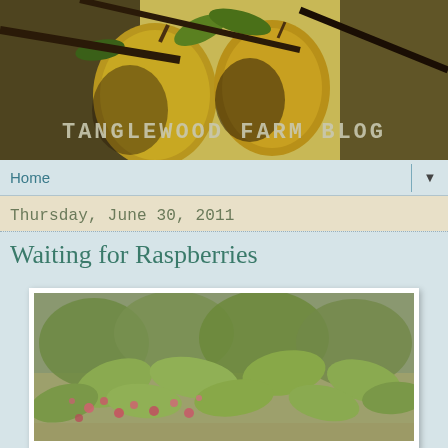[Figure (photo): Header banner photo of large golden pears hanging on a tree with the text TANGLEWOOD FARM BLOG overlaid in capital letters]
Home ▼
Thursday, June 30, 2011
Waiting for Raspberries
[Figure (photo): Photograph of raspberry plants with green leaves and small pink-red berries, framed in white with a shadow border]